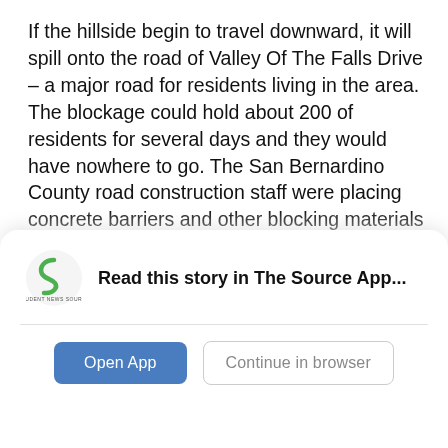If the hillside begin to travel downward, it will spill onto the road of Valley Of The Falls Drive – a major road for residents living in the area. The blockage could hold about 200 of residents for several days and they would have nowhere to go. The San Bernardino County road construction staff were placing concrete barriers and other blocking materials along the road to help divert mud and debris. Meanwhile, the San Bernardino County Sheriff's Department issued a reverse 911 call
[Figure (logo): Student News Source logo — green S swirl with 'STUDENT NEWS SOURCE' text beneath]
Read this story in The Source App...
Open App
Continue in browser